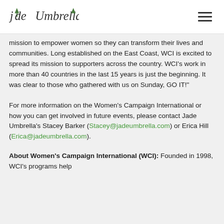Jade Umbrella [logo + hamburger menu]
mission to empower women so they can transform their lives and communities. Long established on the East Coast, WCI is excited to spread its mission to supporters across the country. WCI's work in more than 40 countries in the last 15 years is just the beginning. It was clear to those who gathered with us on Sunday, GO IT!”
For more information on the Women’s Campaign International or how you can get involved in future events, please contact Jade Umbrella’s Stacey Barker (Stacey@jadeumbrella.com) or Erica Hill (Erica@jadeumbrella.com).
About Women’s Campaign International (WCI):
Founded in 1998, WCI’s programs help